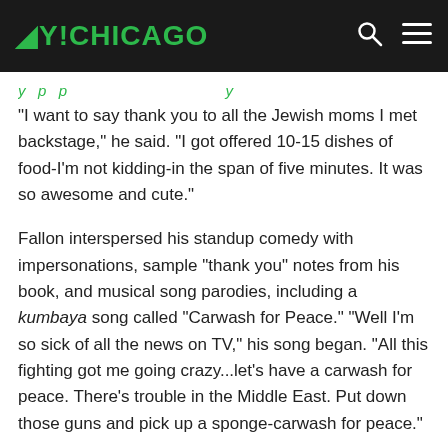OY!CHICAGO
"I want to say thank you to all the Jewish moms I met backstage," he said. "I got offered 10-15 dishes of food-I'm not kidding-in the span of five minutes. It was so awesome and cute."
Fallon interspersed his standup comedy with impersonations, sample "thank you" notes from his book, and musical song parodies, including a kumbaya song called "Carwash for Peace." "Well I'm so sick of all the news on TV," his song began. "All this fighting got me going crazy...let's have a carwash for peace. There's trouble in the Middle East. Put down those guns and pick up a sponge-carwash for peace."